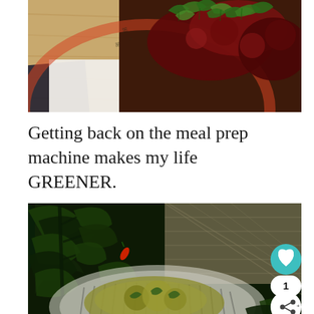[Figure (photo): Top-down view of a decorative plate with dark food items (roasted beets or meat) garnished with green arugula leaves, placed on a wooden table with a white paper/napkin and dark notebook visible.]
Getting back on the meal prep machine makes my life GREENER.
[Figure (photo): Overhead view of a bowl of food (scrambled eggs or potato salad with greens) in a striped bowl, surrounded by lush green houseplants including what appears to a pepper plant with a red chili. A tiled/patterned surface is visible in the background. Heart/like button (teal), count badge showing '1', and share button are overlaid on the bottom right corner.]